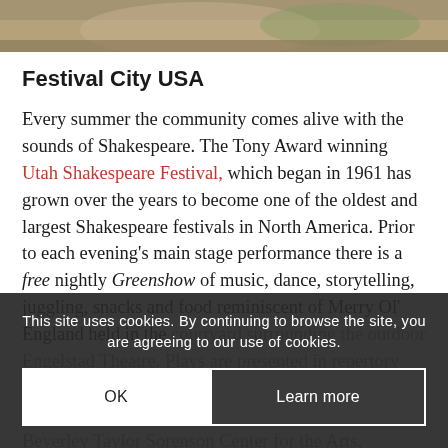[Figure (photo): Partial photo strip at top showing food/salad on a plate, cropped]
Festival City USA
Every summer the community comes alive with the sounds of Shakespeare. The Tony Award winning Utah Shakespeare Festival, which began in 1961 has grown over the years to become one of the oldest and largest Shakespeare festivals in North America. Prior to each evening’s main stage performance there is a free nightly Greenshow of music, dance, storytelling, juggling, snacks and food reminiscent of Merry Ol’ England held in the courtyard surrounding the outdoor Engelstad Theatre. Plays are presented in repertory each season in three theaters. These theaters along with the Southern Utah Museum of Art are part of the Beverley Taylor Sorenson Center for the Arts,
This site uses cookies. By continuing to browse the site, you are agreeing to our use of cookies.